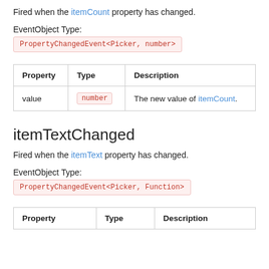Fired when the itemCount property has changed.
EventObject Type:
PropertyChangedEvent<Picker, number>
| Property | Type | Description |
| --- | --- | --- |
| value | number | The new value of itemCount. |
itemTextChanged
Fired when the itemText property has changed.
EventObject Type:
PropertyChangedEvent<Picker, Function>
| Property | Type | Description |
| --- | --- | --- |